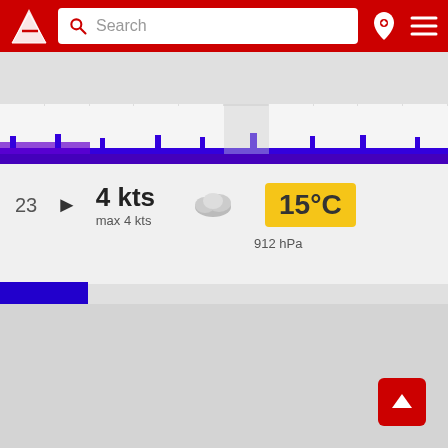[Figure (screenshot): Red navigation app header with logo, search bar, pin icon, and menu icon]
Search
[Figure (infographic): Day strip calendar showing days 1-10 with day 6 highlighted in gray]
[Figure (bar-chart): Horizontal wind speed bar chart with blue bars along the day strip]
23
4 kts
max 4 kts
15°C
912 hPa